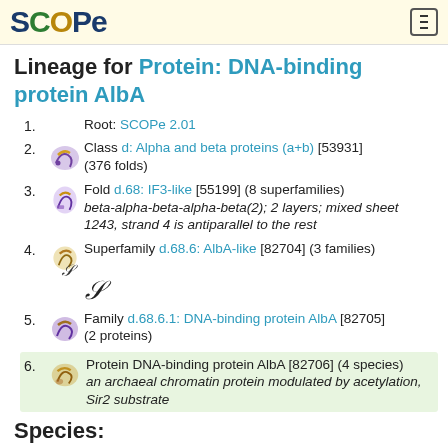SCOPe
Lineage for Protein: DNA-binding protein AlbA
1. Root: SCOPe 2.01
2. Class d: Alpha and beta proteins (a+b) [53931] (376 folds)
3. Fold d.68: IF3-like [55199] (8 superfamilies) beta-alpha-beta-alpha-beta(2); 2 layers; mixed sheet 1243, strand 4 is antiparallel to the rest
4. Superfamily d.68.6: AlbA-like [82704] (3 families)
5. Family d.68.6.1: DNA-binding protein AlbA [82705] (2 proteins)
6. Protein DNA-binding protein AlbA [82706] (4 species) an archaeal chromatin protein modulated by acetylation, Sir2 substrate
Species: